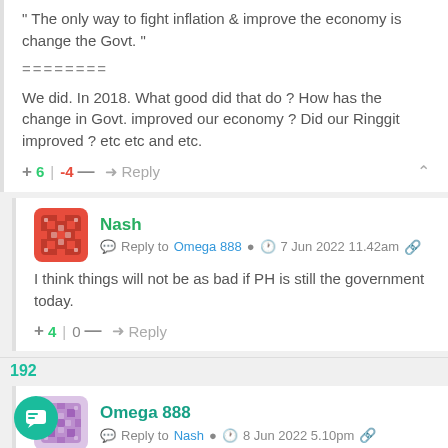" The only way to fight inflation & improve the economy is change the Govt. "
========
We did. In 2018. What good did that do ? How has the change in Govt. improved our economy ? Did our Ringgit improved ? etc etc and etc.
+  6  |  -4  —   ➜ Reply
Nash — Reply to Omega 888 — 7 Jun 2022 11.42am
I think things will not be as bad if PH is still the government today.
+ 4  |  0  —   ➜ Reply
192
Omega 888 — Reply to Nash — 8 Jun 2022 5.10pm